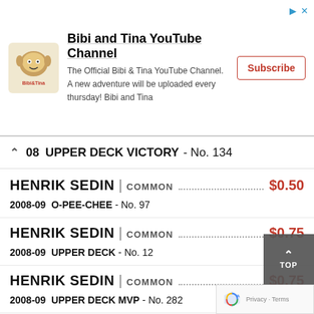[Figure (other): Advertisement banner for Bibi and Tina YouTube Channel with logo, description text, and Subscribe button]
08 UPPER DECK VICTORY - No. 134
HENRIK SEDIN | COMMON $0.50
2008-09 O-PEE-CHEE - No. 97
HENRIK SEDIN | COMMON $0.75
2008-09 UPPER DECK - No. 12
HENRIK SEDIN | COMMON $0.75
2008-09 UPPER DECK MVP - No. 282
HENRIK SEDIN | COMMON
2008-09 UPPER DECK VICTORY - No. 9